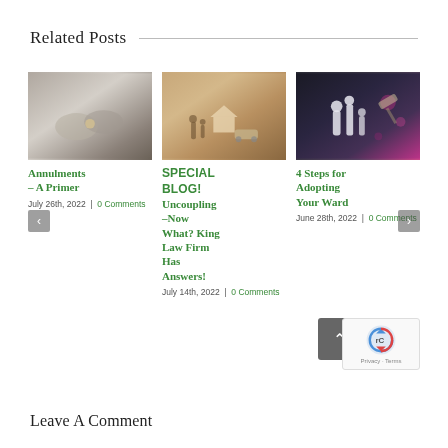Related Posts
[Figure (photo): Close-up of hands holding a wedding ring]
Annulments – A Primer
July 26th, 2022  |  0 Comments
[Figure (photo): Hands separating a house model and car model with family cutouts]
SPECIAL BLOG! Uncoupling –Now What? King Law Firm Has Answers!
July 14th, 2022  |  0 Comments
[Figure (photo): Paper cutout silhouettes of people walking with a gavel and bokeh lights in background]
4 Steps for Adopting Your Ward
June 28th, 2022  |  0 Comments
Leave A Comment